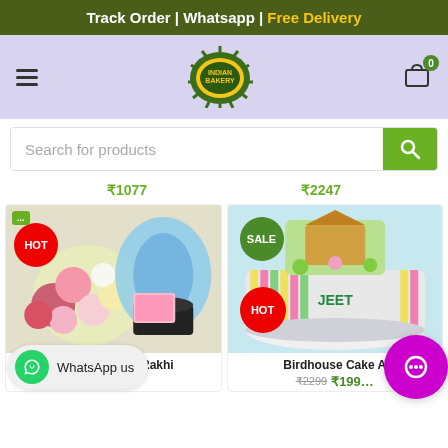Track Order | Whatsapp | Free Delivery
[Figure (screenshot): Indian Bakery logo — circular badge with spiky border in green and yellow tones]
Search for products
₹1077   ₹2249
[Figure (photo): Beauty At Best Rakhi gift set with roses, cake, and gift box. HOT badge. Price shown.]
[Figure (photo): Birdhouse Cake A (name cut off) — decorated birthday cake with figurines spelling JEET. SALE and HOT badges.]
Beauty At Best Rakhi
Birdhouse Cake A
₹2299  ₹1999
WhatsApp us